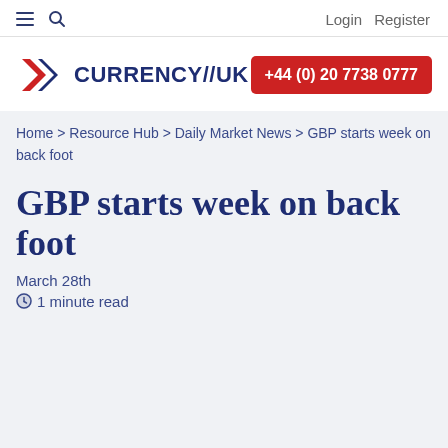Login Register
[Figure (logo): Currency//UK logo with red and white chevron flag icon and dark blue text]
+44 (0) 20 7738 0777
Home > Resource Hub > Daily Market News > GBP starts week on back foot
GBP starts week on back foot
March 28th
1 minute read